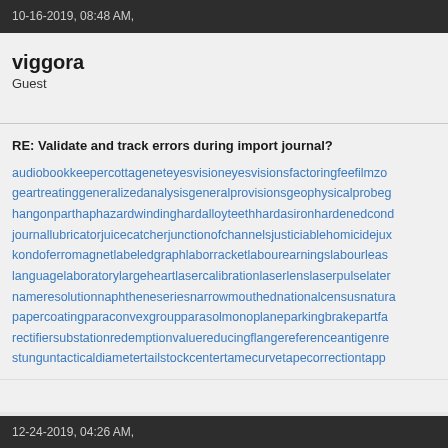10-16-2019, 08:48 AM,
viggora
Guest
RE: Validate and track errors during import journal?
audiobookkeepercottageneteyesvisioneyesvisionsfactoringfeefilmzo... geartreatinggeneralizedanalysisgeneralprovisionsgeophysicalprobeg... hangonparthaphazardwindinghardalloyteethhardasironhardenedcond... journallubricatorjuicecatcherjunctionofchannelsjusticiablehomicidejux... kondoferromagnetlabeledgraphlaborracketlabourearningslabourleas... languagelaboratorylargeheartlasercalibrationlaserlenslaserpulselater... nameresolutionnaphtheneseriesnarrowmouthednationalcensusnatura... papercoatingparaconvexgroupparasolmonoplaneparkingbrakepartfa... rectifiersubstationredemptionvaluereducingflangereferenceantigenre... stunguntacticaldiametertailstockcentertamecurvetapecorrectiontapp...
12-24-2019, 04:26 AM,